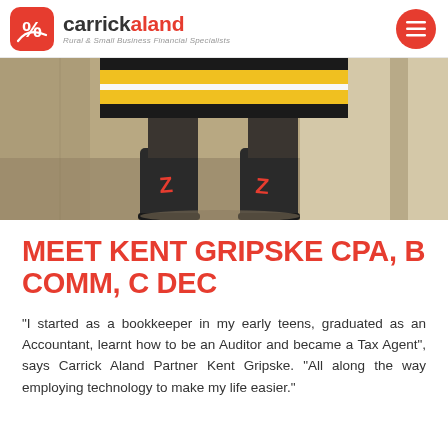carrickaland — Rural & Small Business Financial Specialists
[Figure (photo): Close-up photo of a person's lower body wearing a black and yellow striped top, dark pants, and black gumboots with red Z logos on them, standing on a concrete surface.]
MEET KENT GRIPSKE CPA, B COMM, C DEC
“I started as a bookkeeper in my early teens, graduated as an Accountant, learnt how to be an Auditor and became a Tax Agent”, says Carrick Aland Partner Kent Gripske. “All along the way employing technology to make my life easier.”